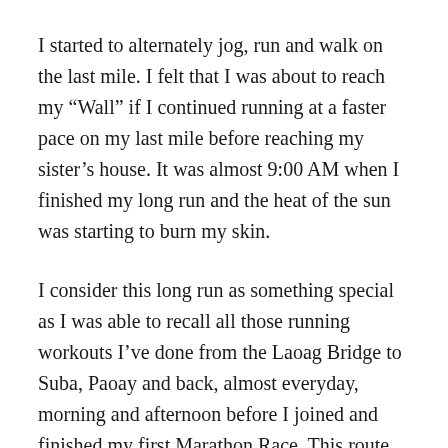I started to alternately jog, run and walk on the last mile. I felt that I was about to reach my “Wall” if I continued running at a faster pace on my last mile before reaching my sister’s house. It was almost 9:00 AM when I finished my long run and the heat of the sun was starting to burn my skin.
I consider this long run as something special as I was able to recall all those running workouts I’ve done from the Laoag Bridge to Suba, Paoay and back, almost everyday, morning and afternoon before I joined and finished my first Marathon Race. This route was my favorite practice area and it gave me the strength and fulfillment to be a passionate and a lover of running.